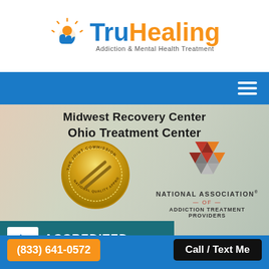[Figure (logo): TruHealing Addiction & Mental Health Treatment logo with sun/hand icon, blue and orange text]
[Figure (other): Blue navigation bar with hamburger menu icon]
Midwest Recovery Center
Ohio Treatment Center
[Figure (logo): The Joint Commission National Quality Approval gold seal]
[Figure (logo): National Association of Addiction Treatment Providers (NAATP) logo with geometric hexagon icon]
[Figure (logo): Better Business Bureau Accredited Business badge in teal/dark teal]
(833) 641-0572
Call / Text Me